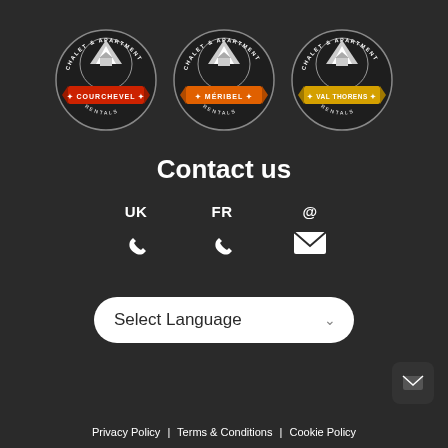[Figure (logo): Three circular badge logos for Chalet & Apartment Rentals: Courchevel (red banner), Méribel (orange banner), Val Thorens (yellow banner)]
Contact us
UK  FR  @  (phone icons and email icon)
Select Language
Privacy Policy |  Terms & Conditions |  Cookie Policy